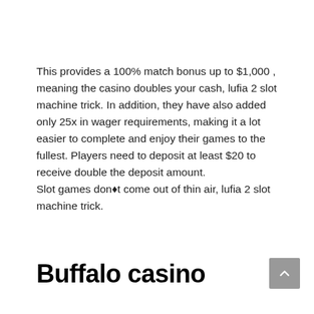This provides a 100% match bonus up to $1,000 , meaning the casino doubles your cash, lufia 2 slot machine trick. In addition, they have also added only 25x in wager requirements, making it a lot easier to complete and enjoy their games to the fullest. Players need to deposit at least $20 to receive double the deposit amount. Slot games don◆t come out of thin air, lufia 2 slot machine trick.
Buffalo casino